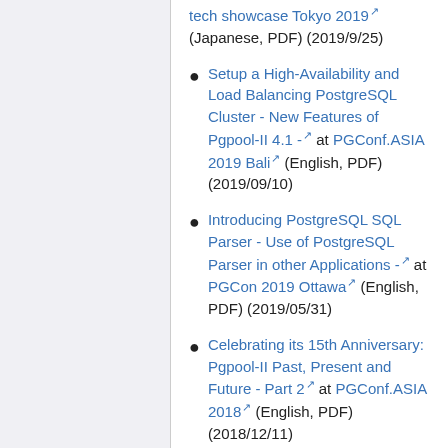tech showcase Tokyo 2019 (Japanese, PDF) (2019/9/25)
Setup a High-Availability and Load Balancing PostgreSQL Cluster - New Features of Pgpool-II 4.1 - at PGConf.ASIA 2019 Bali (English, PDF) (2019/09/10)
Introducing PostgreSQL SQL Parser - Use of PostgreSQL Parser in other Applications - at PGCon 2019 Ottawa (English, PDF) (2019/05/31)
Celebrating its 15th Anniversary: Pgpool-II Past, Present and Future - Part 2 at PGConf.ASIA 2018 (English, PDF) (2018/12/11)
Celebrating its 15th Anniversary: Pgpool-II Past, Present and Future - Part 1 at PGConf.ASIA 2018 (English, PDF) (2018/12/11)